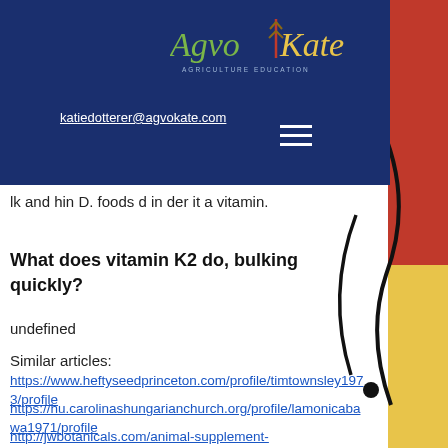[Figure (logo): AgvoKate Agriculture Education logo in white/green/yellow on dark blue nav bar]
katiedotterer@agvokate.com
lk and hin D. foods d in der it a vitamin.
What does vitamin K2 do, bulking quickly?
undefined
Similar articles:
https://www.heftyseedprinceton.com/profile/timtownsley1973/profile
https://hu.carolinashungarianchurch.org/profile/lamonicabawa1971/profile
http://jwbotanicals.com/animal-supplement-